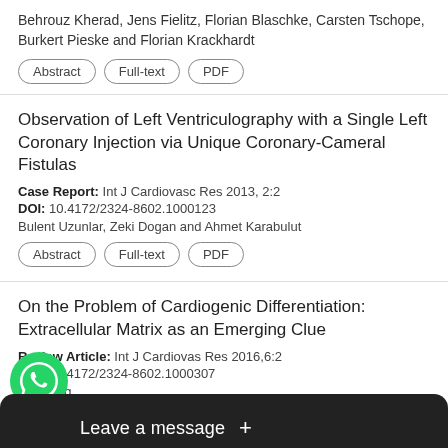Behrouz Kherad, Jens Fielitz, Florian Blaschke, Carsten Tschope, Burkert Pieske and Florian Krackhardt
Abstract | Full-text | PDF
Observation of Left Ventriculography with a Single Left Coronary Injection via Unique Coronary-Cameral Fistulas
Case Report: Int J Cardiovasc Res 2013, 2:2
DOI: 10.4172/2324-8602.1000123
Bulent Uzunlar, Zeki Dogan and Ahmet Karabulut
Abstract | Full-text | PDF
On the Problem of Cardiogenic Differentiation: Extracellular Matrix as an Emerging Clue
Review Article: Int J Cardiovas Res 2016,6:2
DOI: 10.4172/2324-8602.1000307
a Bildyug
[Figure (screenshot): WhatsApp 'Leave a message' overlay with green WhatsApp icon and dark message bar at bottom]